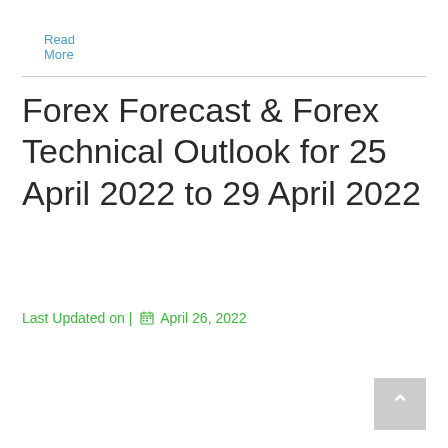Read More
Forex Forecast & Forex Technical Outlook for 25 April 2022 to 29 April 2022
Last Updated on | 📅 April 26, 2022